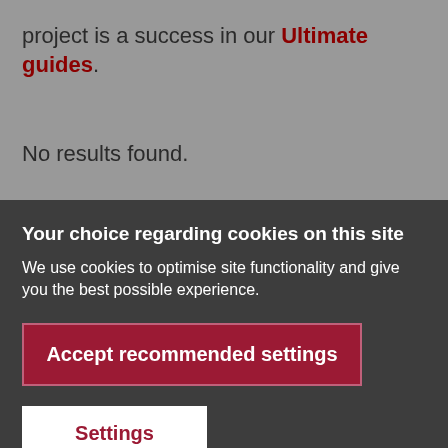project is a success in our Ultimate guides.
No results found.
Your choice regarding cookies on this site
We use cookies to optimise site functionality and give you the best possible experience.
Accept recommended settings
Settings